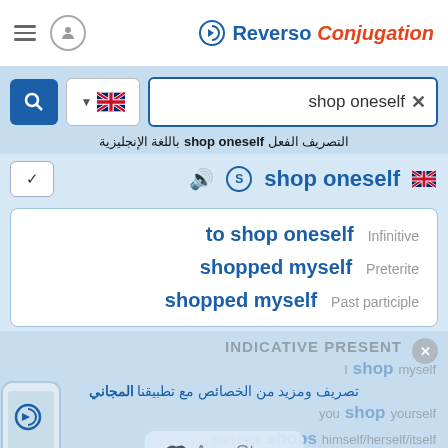Reverso Conjugation
shop oneself
التصريف الفعل shop oneself باللغة الإنجليزية
shop oneself
| Form | Label |
| --- | --- |
| to shop oneself | Infinitive |
| shopped myself | Preterite |
| shopped myself | Past participle |
INDICATIVE PRESENT
I shop myself
you shop yourself
he/she/it shops himself/herself/itself